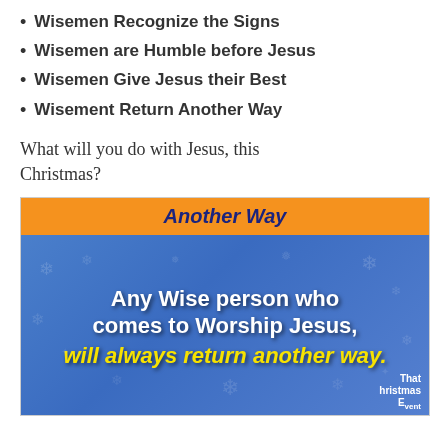Wisemen Recognize the Signs
Wisemen are Humble before Jesus
Wisemen Give Jesus their Best
Wisement Return Another Way
What will you do with Jesus, this Christmas?
[Figure (illustration): Blue background image with orange header bar reading 'Another Way' and white bold text 'Any Wise person who comes to Worship Jesus,' followed by yellow italic text 'will always return another way.' with snowflake decorations and a logo reading 'That Christmas [Event]' in bottom right.]